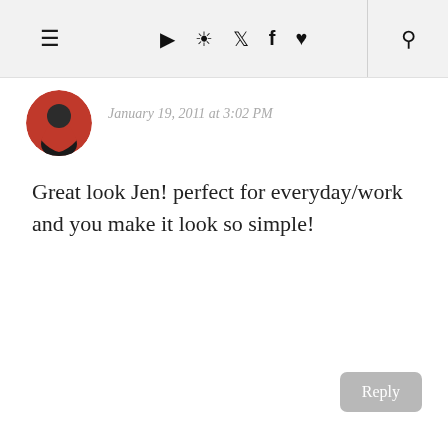≡ ▶ 📷 🐦 f ♥ 🔍
January 19, 2011 at 3:02 PM
Great look Jen! perfect for everyday/work and you make it look so simple!
Anonymous
January 19, 2011 at 3:20 PM
This is a really pretty one! Thank you for taking the time to do these for all of us!
Both WOULD be nice but... If I